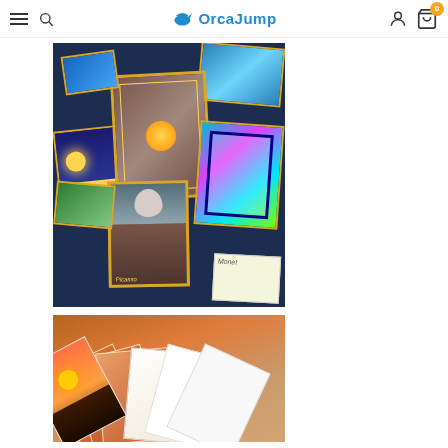OrcaJump navigation bar with hamburger menu, search icon, OrcaJump logo, user icon, and cart icon with badge 0
[Figure (photo): Spread of colorful art-themed trading cards / postcards featuring famous artworks including Starry Night, Mona Lisa, Picasso works, scattered on a dark navy background]
[Figure (photo): Stack of photo postcards fanned out showing landscape sunset imagery, on a warm wooden surface]